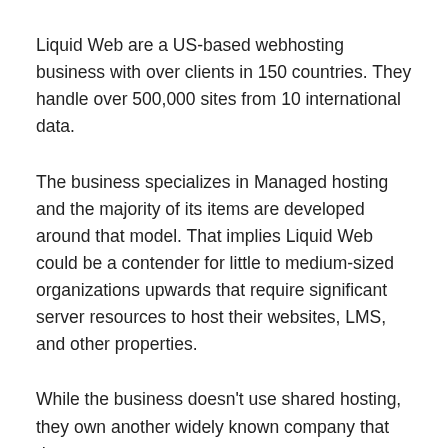Liquid Web are a US-based webhosting business with over clients in 150 countries. They handle over 500,000 sites from 10 international data.
The business specializes in Managed hosting and the majority of its items are developed around that model. That implies Liquid Web could be a contender for little to medium-sized organizations upwards that require significant server resources to host their websites, LMS, and other properties.
While the business doesn't use shared hosting, they own another widely known company that does.
As mentioned above, Liquid Web is for higher-tier